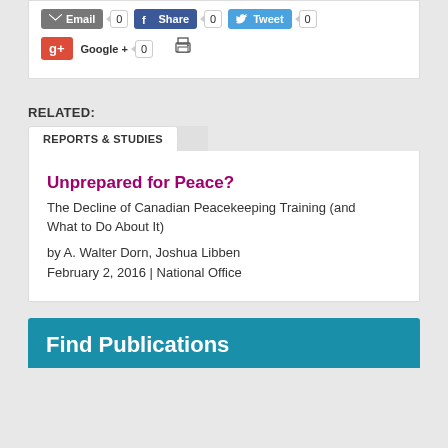[Figure (screenshot): Social sharing buttons row: Email (0), Share/Facebook (0), Tweet (0), Google+ (0), and a print icon]
RELATED:
REPORTS & STUDIES
Unprepared for Peace?
The Decline of Canadian Peacekeeping Training (and What to Do About It)
by A. Walter Dorn, Joshua Libben
February 2, 2016 | National Office
Find Publications